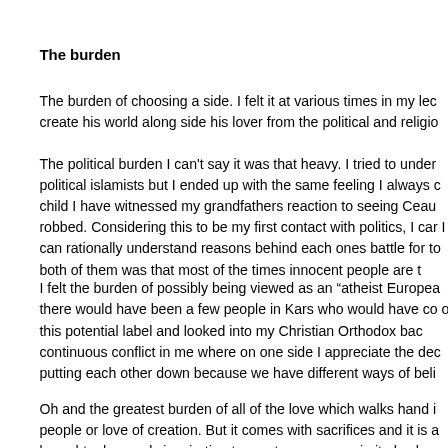The burden
The burden of choosing a side. I felt it at various times in my lec create his world along side his lover from the political and religio
The political burden I can't say it was that heavy. I tried to under political islamists but I ended up with the same feeling I always c child I have witnessed my grandfathers reaction to seeing Ceau robbed. Considering this to be my first contact with politics, I car I can rationally understand reasons behind each ones battle for to both of them was that most of the times innocent people are t
I felt the burden of possibly being viewed as an “atheist Europea there would have been a few people in Kars who would have co of this potential label and looked into my Christian Orthodox bac continuous conflict in me where on one side I appreciate the dec putting each other down because we have different ways of beli
Oh and the greatest burden of all of the love which walks hand i people or love of creation. But it comes with sacrifices and it is a brought a heavenly inspiration to create poems again it also bro